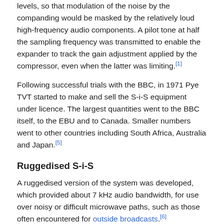levels, so that modulation of the noise by the companding would be masked by the relatively loud high-frequency audio components. A pilot tone at half the sampling frequency was transmitted to enable the expander to track the gain adjustment applied by the compressor, even when the latter was limiting.[1]
Following successful trials with the BBC, in 1971 Pye TVT started to make and sell the S-i-S equipment under licence. The largest quantities went to the BBC itself, to the EBU and to Canada. Smaller numbers went to other countries including South Africa, Australia and Japan.[5]
Ruggedised S-i-S
A ruggedised version of the system was developed, which provided about 7 kHz audio bandwidth, for use over noisy or difficult microwave paths, such as those often encountered for outside broadcasts.[6]
Stereo S-i-S
Later systems, developed in the 1980s, used 14-bit linear PCM samples, digitally companded into 10-bit samples by means of